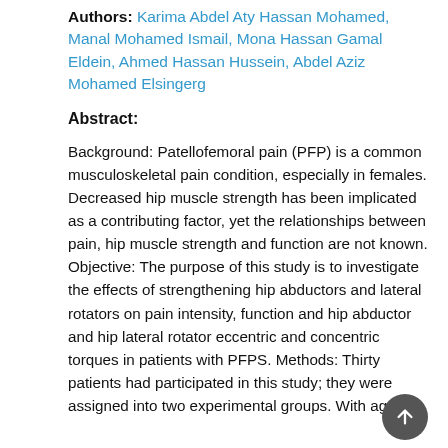Authors: Karima Abdel Aty Hassan Mohamed, Manal Mohamed Ismail, Mona Hassan Gamal Eldein, Ahmed Hassan Hussein, Abdel Aziz Mohamed Elsingerg
Abstract:
Background: Patellofemoral pain (PFP) is a common musculoskeletal pain condition, especially in females. Decreased hip muscle strength has been implicated as a contributing factor, yet the relationships between pain, hip muscle strength and function are not known. Objective: The purpose of this study is to investigate the effects of strengthening hip abductors and lateral rotators on pain intensity, function and hip abductor and hip lateral rotator eccentric and concentric torques in patients with PFPS. Methods: Thirty patients had participated in this study; they were assigned into two experimental groups. With age